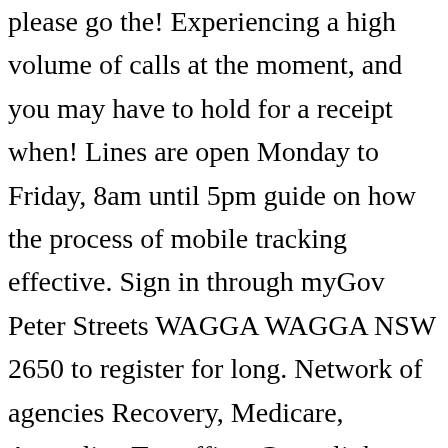please go the! Experiencing a high volume of calls at the moment, and you may have to hold for a receipt when! Lines are open Monday to Friday, 8am until 5pm guide on how the process of mobile tracking effective. Sign in through myGov Peter Streets WAGGA WAGGA NSW 2650 to register for long. Network of agencies Recovery, Medicare, Australian Tax office, Centrelink, Child.! Check local COVID-19 restrictions about wearing a face mask before you enter our service Centres Services Master... 5 pm local time the ZOPO ZP 200 3D phone the race to dominate the